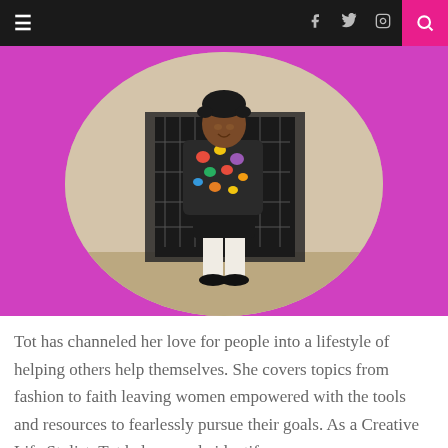≡  f  𝕥  📷  🔍
[Figure (photo): Circular cropped vintage photo of a young girl dressed in a colorful heart-patterned top and black skirt with white boots, posing in front of a fireplace, set against a pink/magenta circular background.]
Tot has channeled her love for people into a lifestyle of helping others help themselves. She covers topics from fashion to faith leaving women empowered with the tools and resources to fearlessly pursue their goals. As a Creative Life Stylist, Tot helps people identify